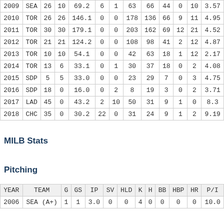| YEAR | TEAM | G | GS | IP | SV | HLD | K | H | BB | HBP | HR | P/I |
| --- | --- | --- | --- | --- | --- | --- | --- | --- | --- | --- | --- | --- |
| 2009 | SEA | 26 | 10 | 69.2 | 6 | 1 | 63 | 66 | 44 | 0 | 10 | 3.57 |
| 2010 | TOR | 26 | 26 | 146.1 | 0 | 0 | 178 | 136 | 66 | 9 | 11 | 4.95 |
| 2011 | TOR | 30 | 30 | 179.1 | 0 | 0 | 203 | 162 | 69 | 12 | 21 | 4.52 |
| 2012 | TOR | 21 | 21 | 124.2 | 0 | 0 | 108 | 98 | 41 | 2 | 12 | 4.87 |
| 2013 | TOR | 10 | 10 | 54.1 | 0 | 0 | 42 | 63 | 18 | 1 | 12 | 2.17 |
| 2014 | TOR | 13 | 6 | 33.1 | 0 | 1 | 30 | 37 | 18 | 0 | 2 | 4.08 |
| 2015 | SDP | 5 | 5 | 33.0 | 0 | 0 | 23 | 29 | 7 | 0 | 3 | 4.75 |
| 2016 | SDP | 18 | 0 | 16.0 | 0 | 2 | 8 | 19 | 3 | 0 | 2 | 3.71 |
| 2017 | LAD | 45 | 0 | 43.2 | 2 | 10 | 50 | 31 | 9 | 1 | 0 | 8.3 |
| 2018 | CHC | 35 | 0 | 30.2 | 22 | 0 | 31 | 24 | 9 | 1 | 2 | 9.19 |
MILB Stats
Pitching
| YEAR | TEAM | G | GS | IP | SV | HLD | K | H | BB | HBP | HR | P/I |
| --- | --- | --- | --- | --- | --- | --- | --- | --- | --- | --- | --- | --- |
| 2006 | SEA (A+) | 1 | 1 | 3.0 | 0 | 0 | 4 | 0 | 0 | 0 | 0 | 10.0 |